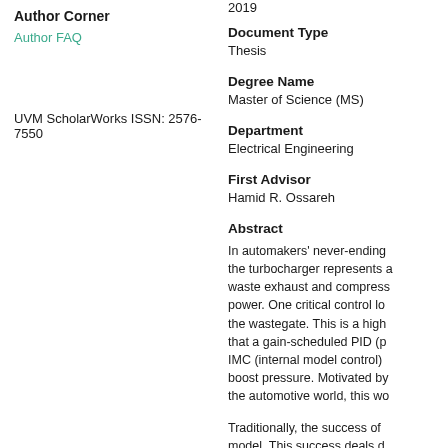2019
Author Corner
Author FAQ
UVM ScholarWorks ISSN: 2576-7550
Document Type
Thesis
Degree Name
Master of Science (MS)
Department
Electrical Engineering
First Advisor
Hamid R. Ossareh
Abstract
In automakers' never-ending the turbocharger represents a waste exhaust and compress power. One critical control lo the wastegate. This is a high that a gain-scheduled PID (p IMC (internal model control) boost pressure. Motivated by the automotive world, this wo
Traditionally, the success of model. This success deals d